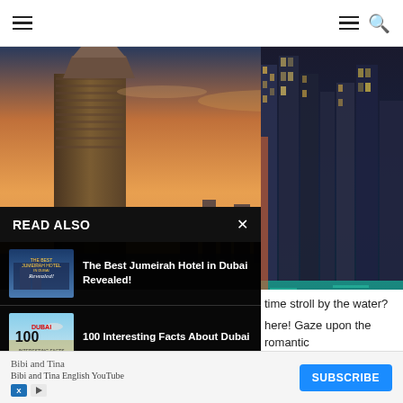Navigation bar with hamburger menu and search icon
[Figure (photo): Aerial sunset view of Dubai skyline with a tall skyscraper under construction in the foreground and city lights reflecting off the water at dusk]
READ ALSO
The Best Jumeirah Hotel in Dubai Revealed!
100 Interesting Facts About Dubai
Downtown Dubai or
time stroll by the water?
here! Gaze upon the romantic
ful time in each other's
[Figure (photo): Dubai Marina at night with illuminated skyscrapers and boats on teal water viewed from above]
[Figure (other): Advertisement banner: Bibi and Tina - Bibi and Tina English YouTube with SUBSCRIBE button]